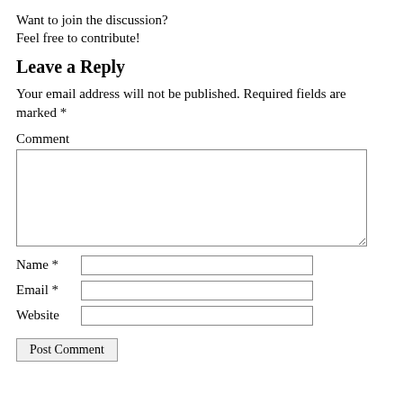Want to join the discussion?
Feel free to contribute!
Leave a Reply
Your email address will not be published. Required fields are marked *
Comment
[Figure (other): Comment textarea input field]
Name *
[Figure (other): Name text input field]
Email *
[Figure (other): Email text input field]
Website
[Figure (other): Website text input field]
Post Comment